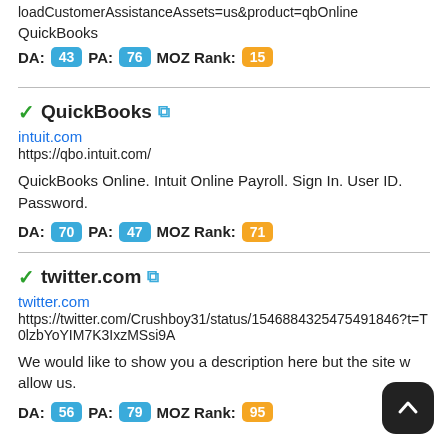loadCustomerAssistanceAssets=us&product=qbOnline
QuickBooks
DA: 43 PA: 76 MOZ Rank: 15
QuickBooks
intuit.com
https://qbo.intuit.com/
QuickBooks Online. Intuit Online Payroll. Sign In. User ID. Password.
DA: 70 PA: 47 MOZ Rank: 71
twitter.com
twitter.com
https://twitter.com/Crushboy31/status/1546884325475491846?t=T0lzbYoYIM7K3IxzMSsi9A
We would like to show you a description here but the site w allow us.
DA: 56 PA: 79 MOZ Rank: 95